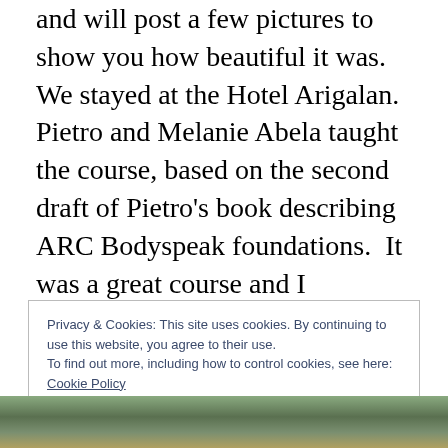and will post a few pictures to show you how beautiful it was.  We stayed at the Hotel Arigalan.  Pietro and Melanie Abela taught the course, based on the second draft of Pietro's book describing ARC Bodyspeak foundations.  It was a great course and I experienced much growth on personal issues.  Here I went mostly for the weather, a winter break, and to satisfy my desire to go to Mexico with friends.  The course was a bonus!   I will describe more aspects of the program in upcoming posts, but for now, just appreciate the beauty of the place.  Here's the view from the deck of Unit 9, the nicest room in the hotel.
Privacy & Cookies: This site uses cookies. By continuing to use this website, you agree to their use.
To find out more, including how to control cookies, see here: Cookie Policy
[Figure (photo): Partial view of a coastal/ocean scene photo at the bottom of the page]